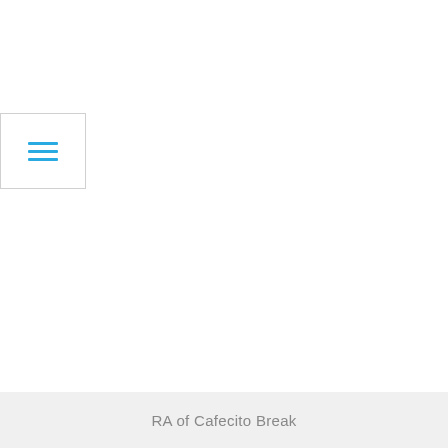[Figure (other): Hamburger menu icon with three horizontal teal/blue lines inside a light gray bordered white box]
RA of Cafecito Break